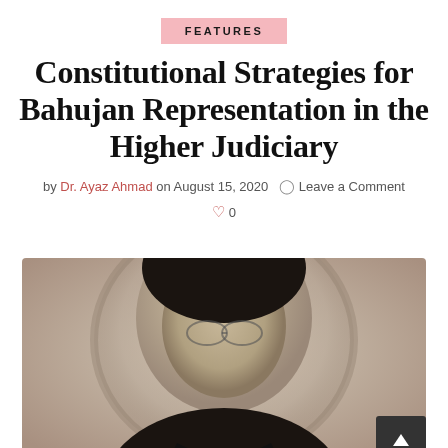FEATURES
Constitutional Strategies for Bahujan Representation in the Higher Judiciary
by Dr. Ayaz Ahmad on August 15, 2020  Leave a Comment  0
[Figure (photo): Portrait painting of a person with glasses, dark hair, wearing a suit, with a circular painted background in muted beige and grey tones.]